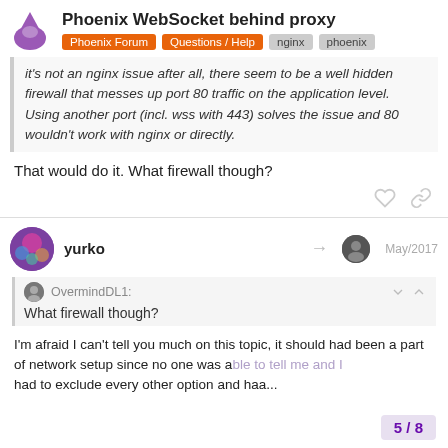Phoenix WebSocket behind proxy | Phoenix Forum | Questions / Help | nginx | phoenix
it's not an nginx issue after all, there seem to be a well hidden firewall that messes up port 80 traffic on the application level. Using another port (incl. wss with 443) solves the issue and 80 wouldn't work with nginx or directly.
That would do it. What firewall though?
yurko  May/2017
OvermindDL1: What firewall though?
I'm afraid I can't tell you much on this topic, it should had been a part of network setup since no one was able to tell me and I had to exclude every other option and haa...
5 / 8